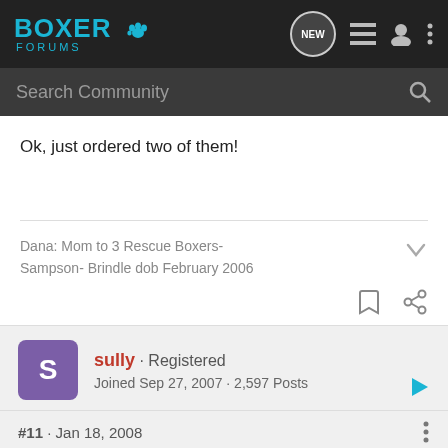Boxer Forums
Ok, just ordered two of them!
Dana: Mom to 3 Rescue Boxers- Sampson- Brindle dob February 2006
sully · Registered
Joined Sep 27, 2007 · 2,597 Posts
#11 · Jan 18, 2008